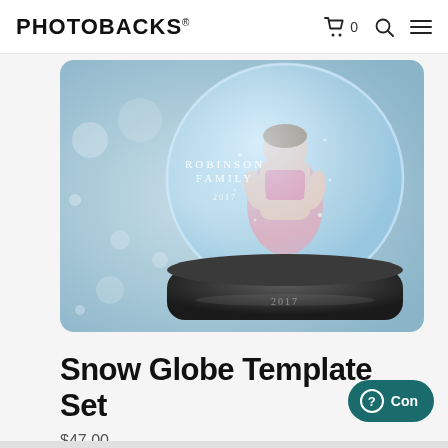PHOTOBACKS® — cart icon with 0, search icon, menu icon
[Figure (photo): A snow globe product image showing a child sitting inside a glass globe with sparkles, text reading ROBINSON FAMILY and 2017, on a dark round base. Light blue bokeh background.]
Snow Globe Template Set
$47.00
ADD TO CART